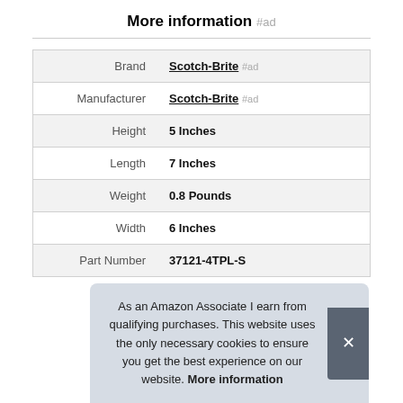More information #ad
|  |  |
| --- | --- |
| Brand | Scotch-Brite #ad |
| Manufacturer | Scotch-Brite #ad |
| Height | 5 Inches |
| Length | 7 Inches |
| Weight | 0.8 Pounds |
| Width | 6 Inches |
| Part Number | 37121-4TPL-S |
As an Amazon Associate I earn from qualifying purchases. This website uses the only necessary cookies to ensure you get the best experience on our website. More information